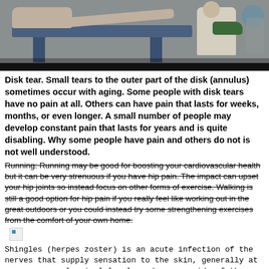[Figure (photo): Physical therapy session photo showing a patient lying on a treatment table while a therapist holds their leg/foot, with exercise equipment visible in the background. Dark bar at bottom of photo.]
Disk tear. Small tears to the outer part of the disk (annulus) sometimes occur with aging. Some people with disk tears have no pain at all. Others can have pain that lasts for weeks, months, or even longer. A small number of people may develop constant pain that lasts for years and is quite disabling. Why some people have pain and others do not is not well understood.
Running: Running may be good for boosting your cardiovascular health but it can be very strenuous if you have hip pain. The impact can upset your hip joints so instead focus on other forms of exercise. Walking is still a good option for hip pain if you really feel like working out in the great outdoors or you could instead try some strengthening exercises from the comfort of your own home.
[Figure (photo): Broken/missing image icon (small blue rectangle placeholder)]
Shingles (herpes zoster) is an acute infection of the nerves that supply sensation to the skin, generally at one or several spinal levels and on one side of the